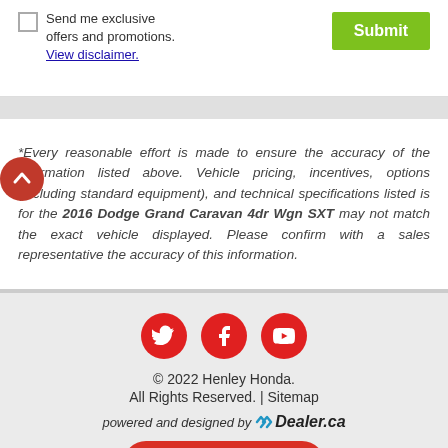Send me exclusive offers and promotions. View disclaimer.
Submit
*Every reasonable effort is made to ensure the accuracy of the information listed above. Vehicle pricing, incentives, options (including standard equipment), and technical specifications listed is for the 2016 Dodge Grand Caravan 4dr Wgn SXT may not match the exact vehicle displayed. Please confirm with a sales representative the accuracy of this information.
[Figure (logo): Social media icons: Twitter, Facebook, YouTube — red circles with white icons]
© 2022 Henley Honda.
All Rights Reserved. | Sitemap
powered and designed by EDealer.ca
Chat with Sales